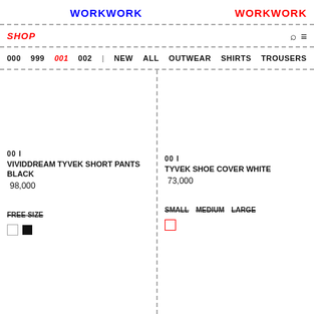WORKWORK  WORKWORK
SHOP
000  999  001  002  |  NEW  ALL  OUTWEAR  SHIRTS  TROUSERS  SHOE
001
VIVIDDREAM TYVEK SHORT PANTS BLACK
98,000
FREE SIZE
001
TYVEK SHOE COVER WHITE
73,000
SMALL  MEDIUM  LARGE